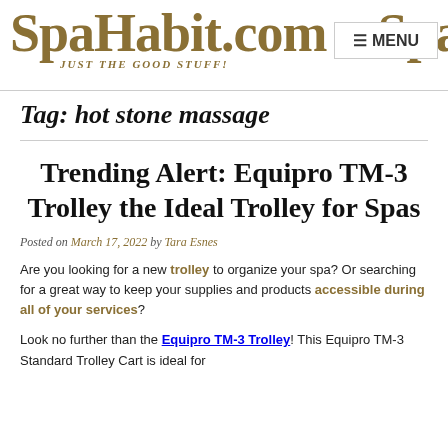SpaHabit.com – Spa... JUST THE GOOD STUFF! MENU
Tag: hot stone massage
Trending Alert: Equipro TM-3 Trolley the Ideal Trolley for Spas
Posted on March 17, 2022 by Tara Esnes
Are you looking for a new trolley to organize your spa? Or searching for a great way to keep your supplies and products accessible during all of your services?
Look no further than the Equipro TM-3 Trolley! This Equipro TM-3 Standard Trolley Cart is ideal for